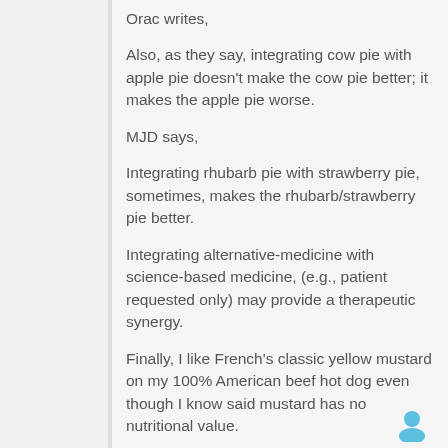Orac writes,
Also, as they say, integrating cow pie with apple pie doesn't make the cow pie better; it makes the apple pie worse.
MJD says,
Integrating rhubarb pie with strawberry pie, sometimes, makes the rhubarb/strawberry pie better.
Integrating alternative-medicine with science-based medicine, (e.g., patient requested only) may provide a therapeutic synergy.
Finally, I like French's classic yellow mustard on my 100% American beef hot dog even though I know said mustard has no nutritional value.
Log in to post comments
By Michael J. Dochniak (not verified) on 08 Mar 2017 #permalink